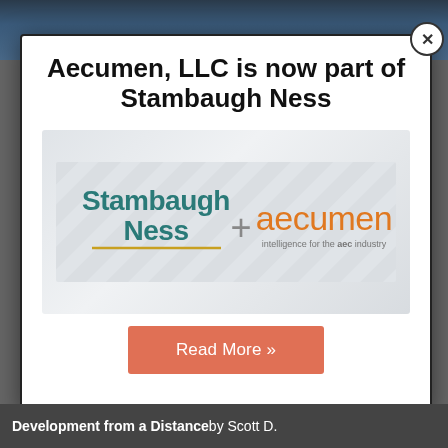Aecumen, LLC is now part of Stambaugh Ness
[Figure (logo): Stambaugh Ness + aecumen logos side by side with diagonal stripe background. Left: 'Stambaugh Ness' in teal with gold underline. Center: '+' symbol. Right: 'aecumen' in orange with subtitle 'intelligence for the aec industry'.]
Read More »
Development from a Distance by Scott D.